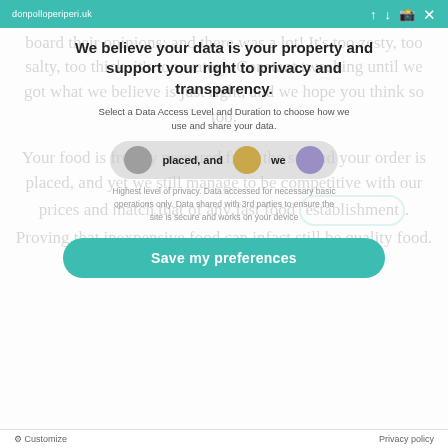often with all the family. We really listened and took on board their opinions; and there was a lot! It's too zesty, too salty, too thick, it's too watery. Constant tweaking until we got what we believe is just right, and we hope you think so too.
We believe your data is your property and support your right to privacy and transparency.
Select a Data Access Level and Duration to choose how we use and share your data.
Your food is freshly prepared from the second your order is placed, and yet we still manage to be competitive with our prices and match that of any fast food establishment. Proving that inexpensive food can infact still be quality food.
Highest level of privacy. Data accessed for necessary basic operations only. Data shared with 3rd parties to ensure the site is secure and works on your device
Save my preferences
Customize
Privacy policy